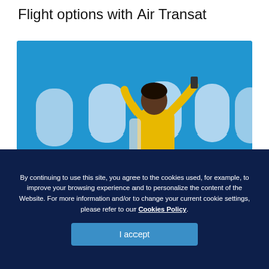Flight options with Air Transat
[Figure (photo): A person in a yellow outfit sitting in an airplane seat taking a selfie, set against a bright blue background with airplane windows visible.]
By continuing to use this site, you agree to the cookies used, for example, to improve your browsing experience and to personalize the content of the Website. For more information and/or to change your current cookie settings, please refer to our Cookies Policy.
I accept